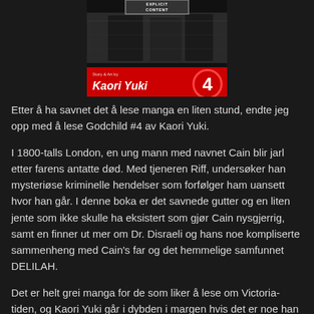[Figure (illustration): Book cover of Godchild #4 by Kaori Yuki. Red and black cover with manga artwork, 'Explicit Content' banner at top, author name 'Kaori Yuki' in white italic text on red bar at bottom, and number 4 in a circle on the right.]
Etter å ha savnet det å lese manga en liten stund, endte jeg opp med å lese Godchild #4 av Kaori Yuki.
I 1800-talls London, en ung mann med navnet Cain blir jarl etter farens antatte død. Med tjeneren Riff, undersøker han mysteriøse kriminelle hendelser som forfølger ham uansett hvor han går. I denne boka er det savnede gutter og en liten jente som ikke skulle ha eksistert som gjør Cain nysgjerrig, samt en finner ut mer om Dr. Disraeli og hans noe kompliserte sammenheng med Cain's far og det hemmelige samfunnet DELILAH.
Det er helt grei manga for de som liker å lese om Victoria-tiden, og Kaori Yuki går i dybden i margen hvis det er noe han føler han burde fortelle mer om.